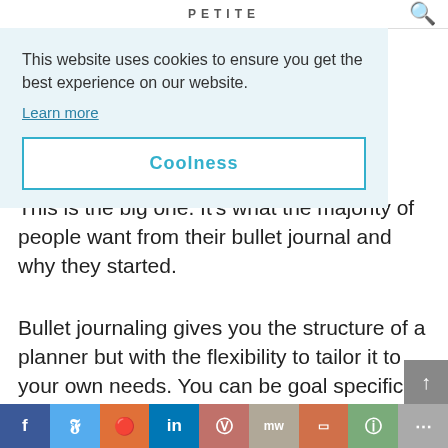PETITE
This website uses cookies to ensure you get the best experience on our website.
Learn more
Coolness
This is the big one. It's what the majority of people want from their bullet journal and why they started.
Bullet journaling gives you the structure of a planner but with the flexibility to tailor it to your own needs. You can be goal specific and create your monthly and weekly pages to fit those goals.
f  t  d  in  p  mw  m  w  more